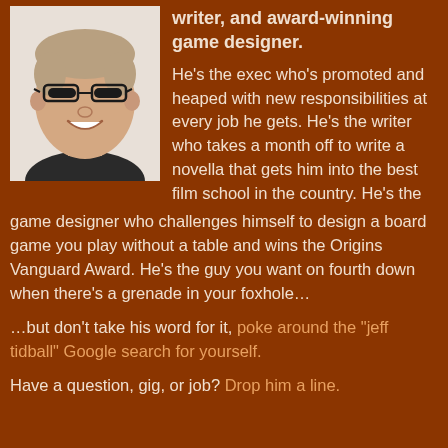[Figure (photo): Headshot of a smiling man with glasses, close-cropped hair, wearing a dark shirt, against a light background]
writer, and award-winning game designer.
He's the exec who's promoted and heaped with new responsibilities at every job he gets. He's the writer who takes a month off to write a novella that gets him into the best film school in the country. He's the game designer who challenges himself to design a board game you play without a table and wins the Origins Vanguard Award. He's the guy you want on fourth down when there's a grenade in your foxhole…
…but don't take his word for it, poke around the "jeff tidball" Google search for yourself.
Have a question, gig, or job? Drop him a line.